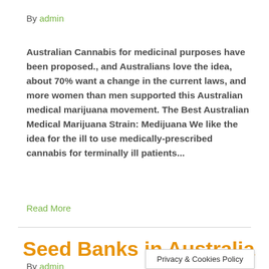By admin
Australian Cannabis for medicinal purposes have been proposed., and Australians love the idea, about 70% want a change in the current laws, and more women than men supported this Australian medical marijuana movement. The Best Australian Medical Marijuana Strain: Medijuana We like the idea for the ill to use medically-prescribed cannabis for terminally ill patients...
Read More
Seed Banks in Australia
By admin
Privacy & Cookies Policy